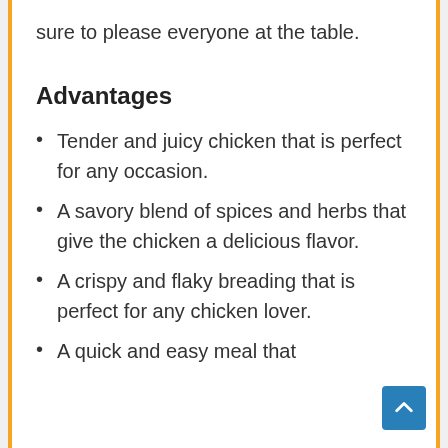sure to please everyone at the table.
Advantages
Tender and juicy chicken that is perfect for any occasion.
A savory blend of spices and herbs that give the chicken a delicious flavor.
A crispy and flaky breading that is perfect for any chicken lover.
A quick and easy meal that